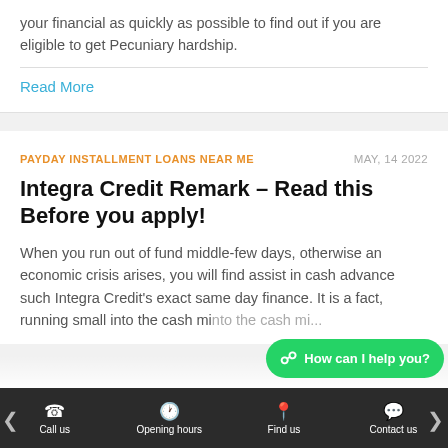your financial as quickly as possible to find out if you are eligible to get Pecuniary hardship.
Read More
PAYDAY INSTALLMENT LOANS NEAR ME
MAY, 14 2022
Integra Credit Remark – Read this Before you apply!
When you run out of fund middle-few days, otherwise an economic crisis arises, you will find assist in cash advance such Integra Credit's exact same day finance. It is a fact, running small into the cash mi...
Call us   Opening hours   Find us   Contact us